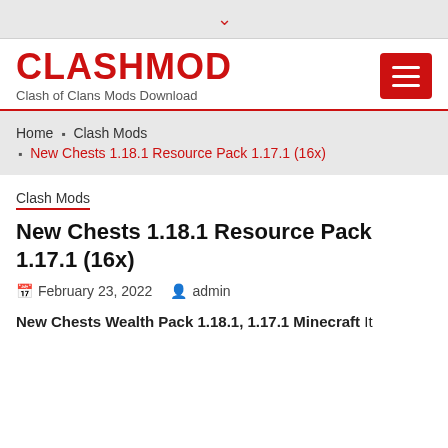▾
CLASHMOD
Clash of Clans Mods Download
Home › Clash Mods › New Chests 1.18.1 Resource Pack 1.17.1 (16x)
Clash Mods
New Chests 1.18.1 Resource Pack 1.17.1 (16x)
February 23, 2022   admin
New Chests Wealth Pack 1.18.1, 1.17.1 Minecraft It ... of the...